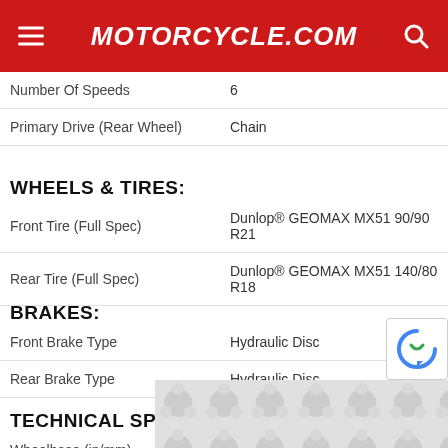Motorcycle.com
| Spec | Value |
| --- | --- |
| Number Of Speeds | 6 |
| Primary Drive (Rear Wheel) | Chain |
WHEELS & TIRES:
| Spec | Value |
| --- | --- |
| Front Tire (Full Spec) | Dunlop® GEOMAX MX51 90/90 R21 |
| Rear Tire (Full Spec) | Dunlop® GEOMAX MX51 140/80 R18 |
BRAKES:
| Spec | Value |
| --- | --- |
| Front Brake Type | Hydraulic Disc |
| Rear Brake Type | Hydraulic Disc |
TECHNICAL SPECIFICATIONS:
| Spec | Value |
| --- | --- |
| Wheelbase (in/mm) | 58.3 / 1482 |
[Figure (other): Advertisement placeholder with decorative pattern of circular shapes]